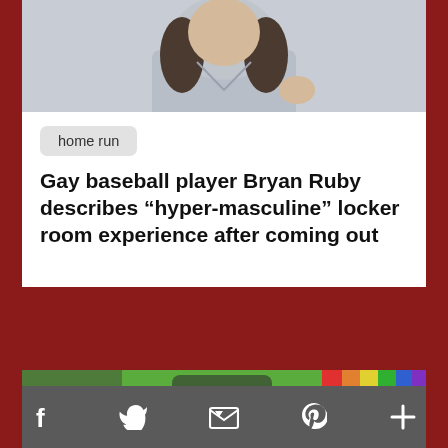[Figure (photo): Partial photo of a person with long dark hair wearing a gray t-shirt, visible from shoulders up]
home run
Gay baseball player Bryan Ruby describes “hyper-masculine” locker room experience after coming out
[Figure (photo): Partial photo showing a person in a green shirt outdoors, partially obscured by video error overlay]
The video cannot be played in this browser. (Error Code: 242632)
f   Twitter   email   Pinterest   +